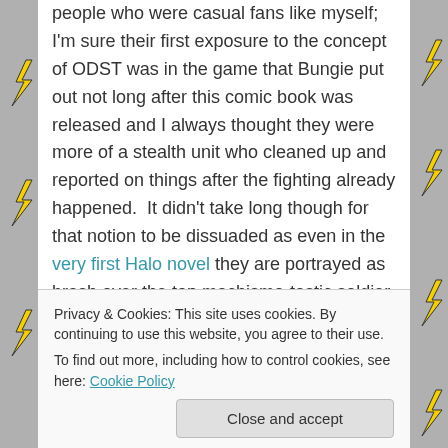people who were casual fans like myself; I'm sure their first exposure to the concept of ODST was in the game that Bungie put out not long after this comic book was released and I always thought they were more of a stealth unit who cleaned up and reported on things after the fighting already happened. It didn't take long though for that notion to be dissuaded as even in the very first Halo novel they are portrayed as brash over the top machismo-tastic soldier bros (and bro-ettes) who are basically Spartans without the Super Soldier Serum and with the Walmart brand version of Mjolnir armor. The most obvious comparison are the Colonial Marines in
Privacy & Cookies: This site uses cookies. By continuing to use this website, you agree to their use.
To find out more, including how to control cookies, see here: Cookie Policy